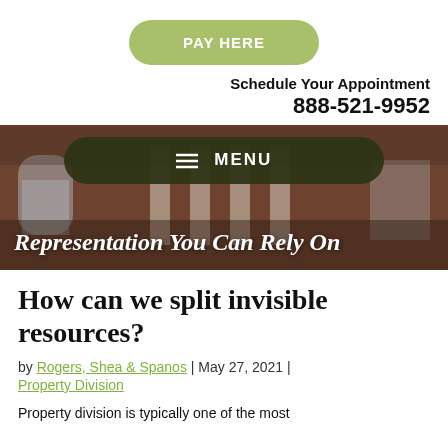PAY HERE
Schedule Your Appointment
888-521-9952
[Figure (photo): Brick building with white columns and arched windows visible behind a dark olive/green rounded menu bar overlay that reads MENU, with tagline 'Representation You Can Rely On' at the bottom left in white italic text]
How can we split invisible resources?
by Rogers, Shea & Spanos | May 27, 2021 | Property Division
Property division is typically one of the most